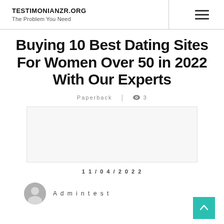TESTIMONIANZR.ORG
The Problem You Need
Buying 10 Best Dating Sites For Women Over 50 in 2022 With Our Experts
Paperback | 3
[Figure (photo): Article featured image placeholder]
11/04/2022
Admintest